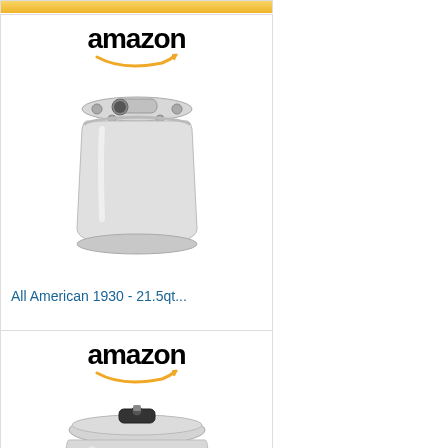[Figure (screenshot): Partially visible Amazon ad card with golden shop now bar at top]
[Figure (screenshot): Amazon ad card for All American 1930 - 21.5qt pressure canner with product image and Shop now button]
All American 1930 - 21.5qt...
[Figure (screenshot): Amazon ad card for Presto 01781 23-Quart pressure canner with product image]
Presto 01781 23-Quart